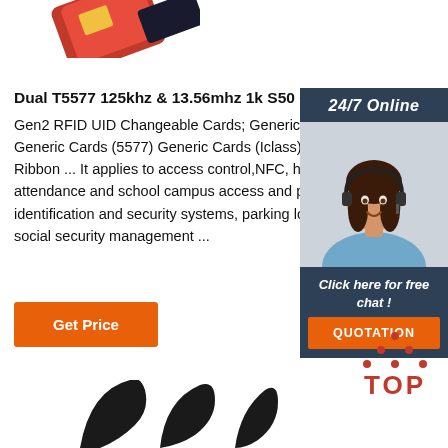[Figure (photo): Partial view of an RFID card/keyfob product image, cropped at top]
Dual T5577 125khz & 13.56mhz 1k S50 Chip Key F... Gen2 RFID UID Changeable Cards; Generic Cards Generic Cards (5577) Generic Cards (Iclass) RFID C Ribbon ... It applies to access control,NFC, hotel loc attendance and school campus access and paymer identification and security systems, parking lot entry social security management ...
[Figure (photo): 24/7 Online customer service sidebar with a woman wearing a headset, dark blue panel with 'Click here for free chat!' text and orange QUOTATION button]
[Figure (illustration): Orange 'Get Price' button]
[Figure (logo): Red TOP logo with dots arranged in a triangle above the word TOP]
[Figure (illustration): Partial bottom illustration showing curved black lines/shapes, possibly product or decorative graphic]